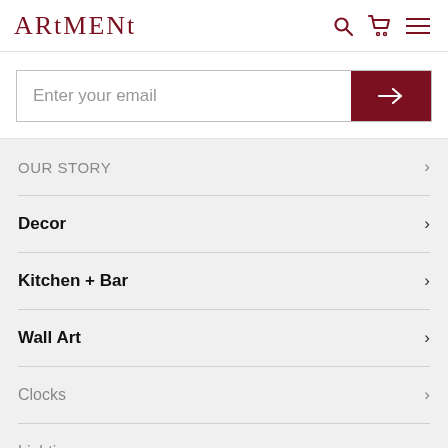ARTMENT
[Figure (screenshot): Email subscription input field with dark red submit arrow button]
OUR STORY
Decor
Kitchen + Bar
Wall Art
Clocks
Lighting